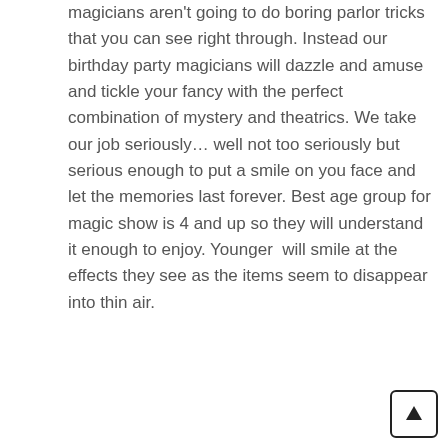magicians aren't going to do boring parlor tricks that you can see right through. Instead our birthday party magicians will dazzle and amuse and tickle your fancy with the perfect combination of mystery and theatrics. We take our job seriously… well not too seriously but serious enough to put a smile on you face and let the memories last forever. Best age group for magic show is 4 and up so they will understand it enough to enjoy. Younger  will smile at the effects they see as the items seem to disappear into thin air.
[Figure (other): Back-to-top arrow button in bottom right corner — square button with upward arrow icon]